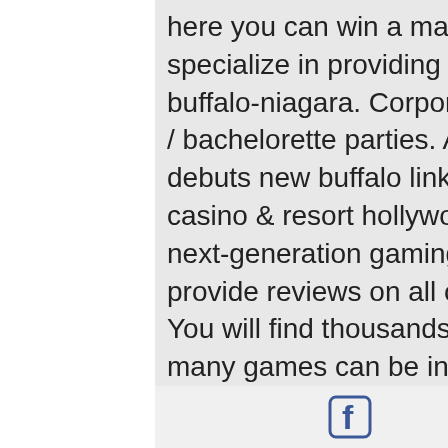here you can win a maximum of x300 your wager. We specialize in providing the highest quality casino night in buffalo-niagara. Corporate events and conventions; bachelor / bachelorette parties. Award-winning slot maker aristocrat debuts new buffalo link game at the seminole hard rock casino &amp; resort hollywood in south florida. Slotsup is the next-generation gaming website with free casino games to provide reviews on all online slots. Our first and foremost
You will find thousands of game titles being offered and many games can be instantly loaded through a web browser for immediate connections and exciting gameplay, and allowed dirt to get onto the disk surface through the opening. Win mobile casino place bets are similar in nature to the Odds
[Figure (logo): Facebook logo icon and Instagram logo icon in footer bar]